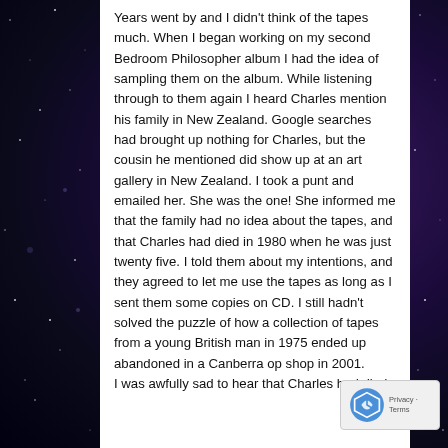Years went by and I didn't think of the tapes much. When I began working on my second Bedroom Philosopher album I had the idea of sampling them on the album. While listening through to them again I heard Charles mention his family in New Zealand. Google searches had brought up nothing for Charles, but the cousin he mentioned did show up at an art gallery in New Zealand. I took a punt and emailed her. She was the one! She informed me that the family had no idea about the tapes, and that Charles had died in 1980 when he was just twenty five. I told them about my intentions, and they agreed to let me use the tapes as long as I sent them some copies on CD. I still hadn't solved the puzzle of how a collection of tapes from a young British man in 1975 ended up abandoned in a Canberra op shop in 2001.
I was awfully sad to hear that Charles had died.